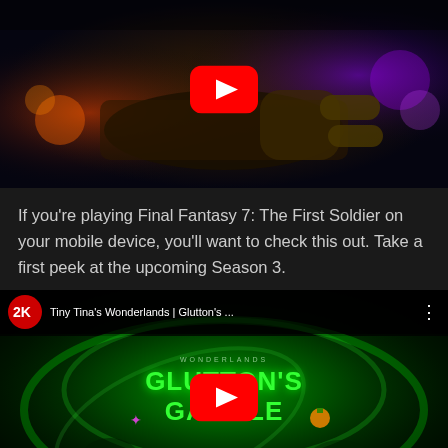[Figure (screenshot): YouTube video thumbnail for Final Fantasy 7: The First Soldier Season 3 preview, showing a first-person shooter scene with guns and dark sci-fi environment, with a red YouTube play button overlay]
If you're playing Final Fantasy 7: The First Soldier on your mobile device, you'll want to check this out. Take a first peek at the upcoming Season 3.
[Figure (screenshot): YouTube video thumbnail for Tiny Tina's Wonderlands Glutton's Gamble with 2K channel logo, title bar showing 'Tiny Tina's Wonderlands | Glutton's ...', green swirling fantasy environment with a goblin character and Halloween pumpkin decoration, red YouTube play button overlay]